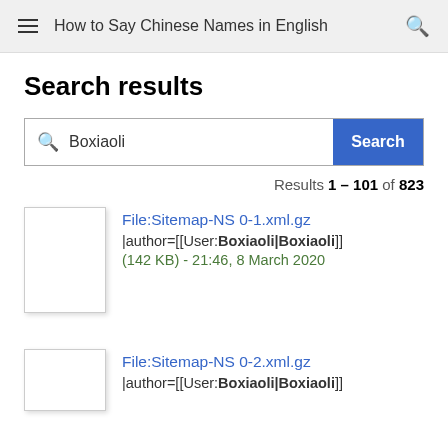How to Say Chinese Names in English
Search results
Search query: Boxiaoli
Results 1 – 101 of 823
File:Sitemap-NS 0-1.xml.gz
|author=[[User:Boxiaoli|Boxiaoli]]
(142 KB) - 21:46, 8 March 2020
File:Sitemap-NS 0-2.xml.gz
|author=[[User:Boxiaoli|Boxiaoli]]